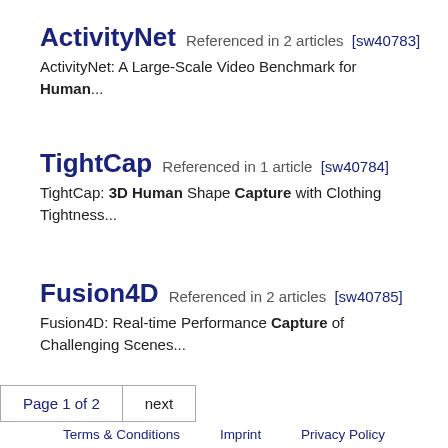ActivityNet  Referenced in 2 articles  [sw40783]
ActivityNet: A Large-Scale Video Benchmark for Human...
TightCap  Referenced in 1 article  [sw40784]
TightCap: 3D Human Shape Capture with Clothing Tightness...
Fusion4D  Referenced in 2 articles  [sw40785]
Fusion4D: Real-time Performance Capture of Challenging Scenes...
Page 1 of 2  next
Terms & Conditions    Imprint    Privacy Policy